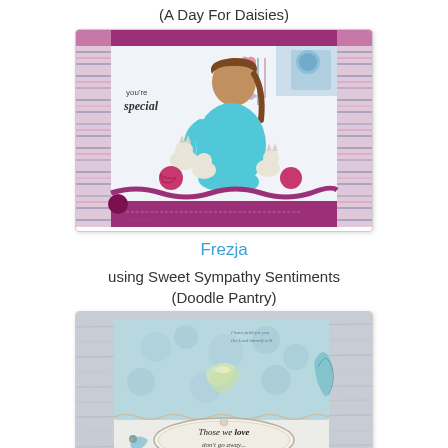(A Day For Daisies)
[Figure (photo): Handmade greeting card featuring a girl sitting with kittens and yarn balls, text reads 'you're special', decorative striped border in pink/purple/blue tones with magenta ribbon accent]
Frezja
using Sweet Sympathy Sentiments
(Doodle Pantry)
[Figure (photo): Handmade sympathy card on weathered wood background, teal/blue floral design with oval label reading 'Those we love', decorative bird and feather embellishments]